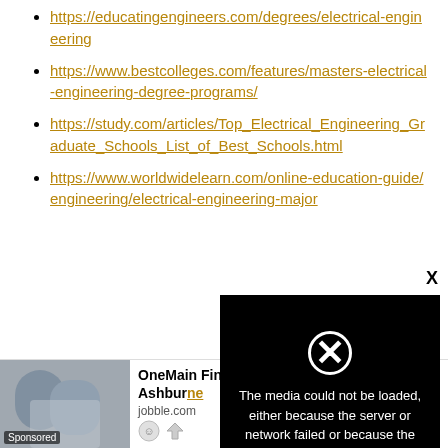https://educatingengineers.com/degrees/electrical-engineering
https://www.bestcolleges.com/features/masters-electrical-engineering-degree-programs/
https://study.com/articles/Top_Electrical_Engineering_Graduate_Schools_List_of_Best_Schools.html
https://www.worldwidelearn.com/online-education-guide/engineering/electrical-engineering-major
Recommen...
[Figure (screenshot): Media error overlay with black background reading: 'The media could not be loaded, either because the server or network failed or because the format is not supported.' with an X close button and a crossed circle icon.]
[Figure (screenshot): Advertisement bar for OneMain Financial Underwriter Jobs in Ashburn from jobble.com with a sponsored image on the left showing two people talking.]